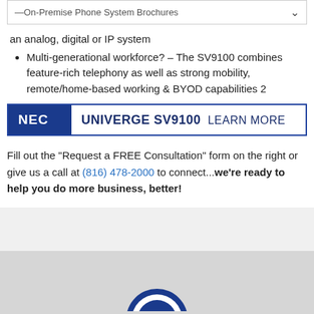—On-Premise Phone System Brochures
an analog, digital or IP system
Multi-generational workforce? – The SV9100 combines feature-rich telephony as well as strong mobility, remote/home-based working & BYOD capabilities 2
[Figure (logo): NEC UNIVERGE SV9100 LEARN MORE banner with NEC logo in blue box on left]
Fill out the "Request a FREE Consultation" form on the right or give us a call at (816) 478-2000 to connect...we're ready to help you do more business, better!
[Figure (logo): Partial NEC logo visible at bottom of page in gray footer area]